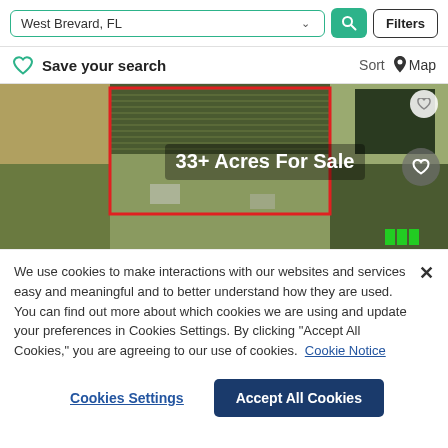[Figure (screenshot): Search bar with 'West Brevard, FL' input, search button, and Filters button]
Save your search   Sort   Map
[Figure (photo): Aerial satellite view of farmland with a red outlined parcel overlay labeled '33+ Acres For Sale']
We use cookies to make interactions with our websites and services easy and meaningful and to better understand how they are used. You can find out more about which cookies we are using and update your preferences in Cookies Settings. By clicking "Accept All Cookies," you are agreeing to our use of cookies.  Cookie Notice
Cookies Settings   Accept All Cookies